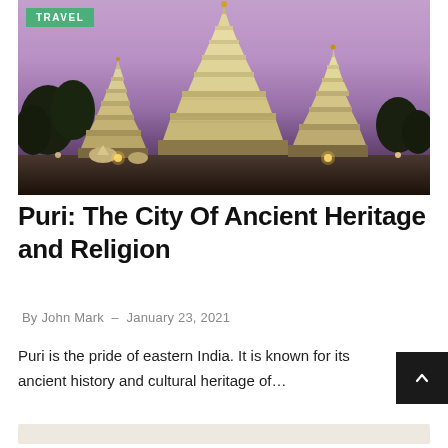[Figure (photo): Evening/dusk photograph of Jagannath Temple in Puri, India, with illuminated white tiered temple spires against a purple/pink twilight sky, with trees visible on the left side]
Puri: The City Of Ancient Heritage and Religion
By John Mark  –  January 23, 2021
Puri is the pride of eastern India. It is known for its ancient history and cultural heritage of…